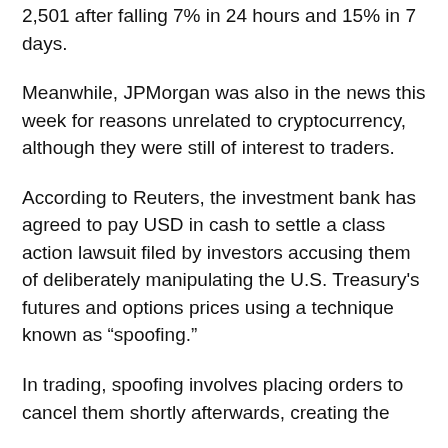2,501 after falling 7% in 24 hours and 15% in 7 days.
Meanwhile, JPMorgan was also in the news this week for reasons unrelated to cryptocurrency, although they were still of interest to traders.
According to Reuters, the investment bank has agreed to pay USD in cash to settle a class action lawsuit filed by investors accusing them of deliberately manipulating the U.S. Treasury's futures and options prices using a technique known as “spoofing.”
In trading, spoofing involves placing orders to cancel them shortly afterwards, creating the